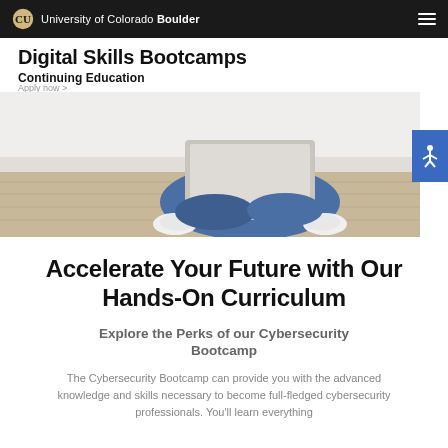University of Colorado Boulder
Digital Skills Bootcamps
Continuing Education
[Figure (photo): Person sitting cross-legged on a wooden floor holding an open laptop, viewed from waist down, wearing jeans and white sneakers.]
Accelerate Your Future with Our Hands-On Curriculum
Explore the Perks of our Cybersecurity Bootcamp
The Cybersecurity Bootcamp can provide you with the advanced knowledge and skills necessary to become full-fledged cybersecurity professionals. You'll learn everything